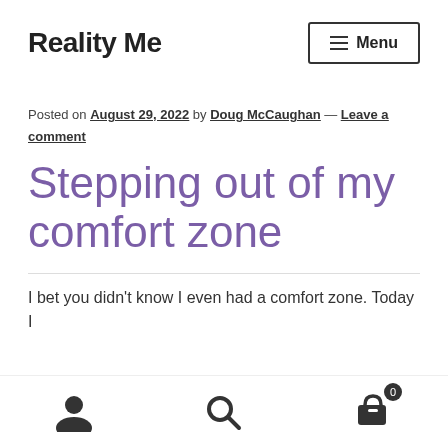Reality Me | Menu
Posted on August 29, 2022 by Doug McCaughan — Leave a comment
Stepping out of my comfort zone
I bet you didn't know I even had a comfort zone. Today I
User icon | Search icon | Cart icon (0)